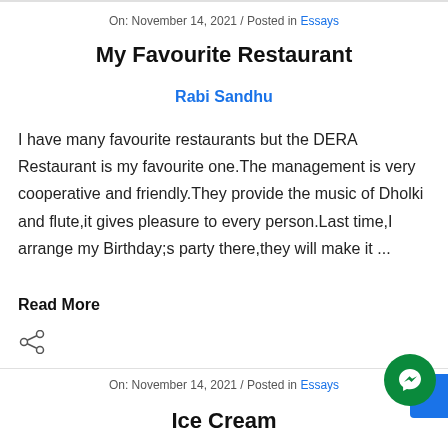On: November 14, 2021 / Posted in Essays
My Favourite Restaurant
Rabi Sandhu
I have many favourite restaurants but the DERA Restaurant is my favourite one.The management is very cooperative and friendly.They provide the music of Dholki and flute,it gives pleasure to every person.Last time,I arrange my Birthday;s party there,they will make it ...
Read More
On: November 14, 2021 / Posted in Essays
Ice Cream